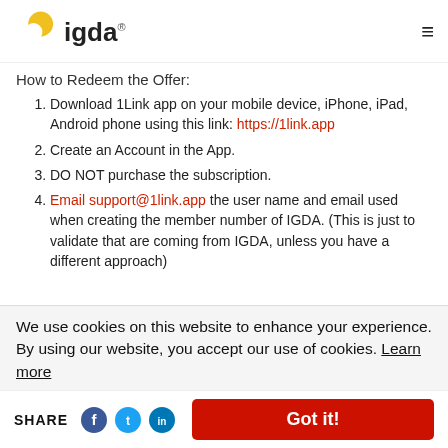[Figure (logo): IGDA logo with red and yellow circular icon and bold 'igda' text with trademark symbol]
How to Redeem the Offer:
Download 1Link app on your mobile device, iPhone, iPad, Android phone using this link: https://1link.app
Create an Account in the App.
DO NOT purchase the subscription.
Email support@1link.app the user name and email used when creating the member number of IGDA. (This is just to validate that are coming from IGDA, unless you have a different approach)
We use cookies on this website to enhance your experience. By using our website, you accept our use of cookies. Learn more
Blog P
SHARE
Got it!